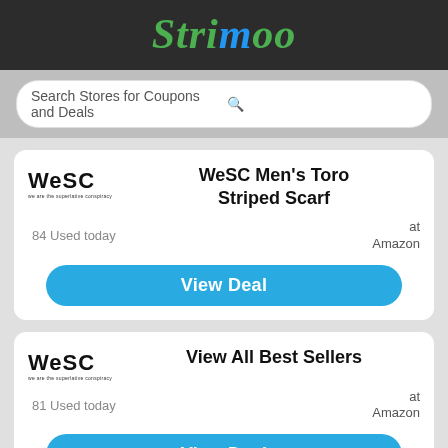Strimoo
Search Stores for Coupons and Deals
WeSC Men's Toro Striped Scarf
84 Used today
at Amazon
View Deal
View All Best Sellers
81 Used today
at Amazon
View Deal